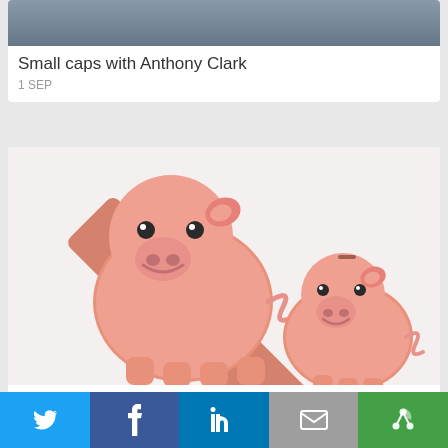[Figure (photo): Partial image of a person (Anthony Clark) at top of card]
Small caps with Anthony Clark
1 SEP
[Figure (photo): Two pink piggy banks forming a percent sign symbol]
Earn 10.5% with Retail Savings Bonds (update...
1 SEP
[Figure (photo): Partial card showing a dark speaker/microphone image on the left and 'JSE' text logo on the right]
[Figure (infographic): Social sharing bar with Twitter, Facebook, LinkedIn, Email, and More buttons]